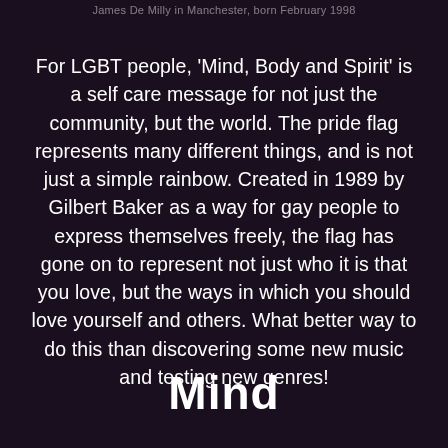James De Milly in Manchester, born February 1998
For LGBT people, 'Mind, Body and Spirit' is a self care message for not just the community, but the world. The pride flag represents many different things, and is not just a simple rainbow. Created in 1989 by Gilbert Baker as a way for gay people to express themselves freely, the flag has gone on to represent not just who it is that you love, but the ways in which you should love yourself and others. What better way to do this than discovering some new music and testing new genres!
Mind